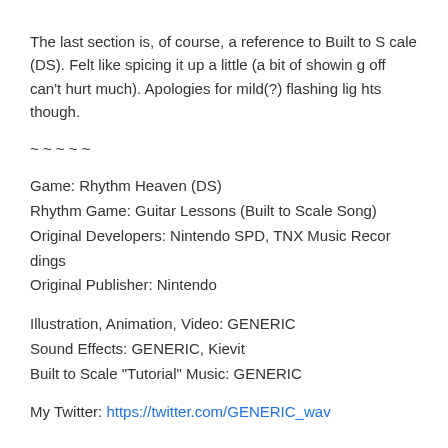The last section is, of course, a reference to Built to Scale (DS). Felt like spicing it up a little (a bit of showing off can't hurt much). Apologies for mild(?) flashing lights though.
~ ~ ~ ~ ~
Game: Rhythm Heaven (DS)
Rhythm Game: Guitar Lessons (Built to Scale Song)
Original Developers: Nintendo SPD, TNX Music Recordings
Original Publisher: Nintendo
Illustration, Animation, Video: GENERIC
Sound Effects: GENERIC, Kievit
Built to Scale "Tutorial" Music: GENERIC
My Twitter: https://twitter.com/GENERIC_wav